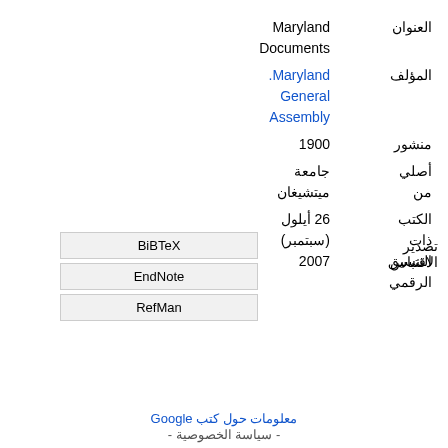| label | value |
| --- | --- |
| العنوان | Maryland Documents |
| المؤلف | Maryland. General Assembly |
| منشور | 1900 |
| أصلي من | جامعة ميتشيغان |
| الكتب ذات التنسيق الرقمي | 26 أيلول (سبتمبر) 2007 |
تصدير الاقتباس
BiBTeX
EndNote
RefMan
معلومات حول كتب Google
- سياسة الخصوصية -